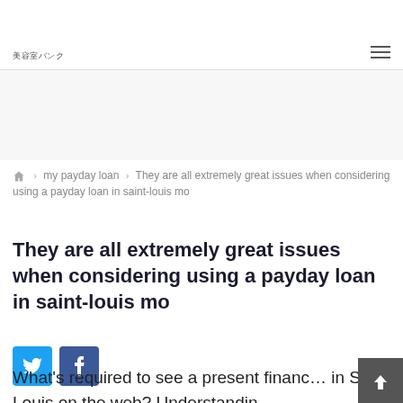美容室バンク
my payday loan › They are all extremely great issues when considering using a payday loan in saint-louis mo
They are all extremely great issues when considering using a payday loan in saint-louis mo
[Figure (infographic): Twitter and Facebook social share buttons]
What's required to see a present financ… in StS Louis on the web? Understandin…